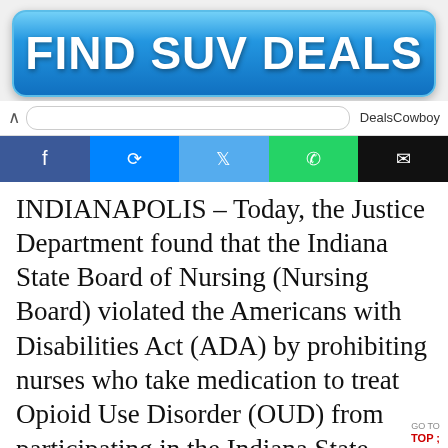[Figure (other): FIND SUV DEALS advertisement banner with blue gradient background and bold white text]
DealsCowboy
[Figure (other): Social media share buttons row: Facebook (dark blue), Messenger (blue), Twitter (light blue), WhatsApp (green), Email (black)]
INDIANAPOLIS – Today, the Justice Department found that the Indiana State Board of Nursing (Nursing Board) violated the Americans with Disabilities Act (ADA) by prohibiting nurses who take medication to treat Opioid Use Disorder (OUD) from participating in the Indiana State Nursing Assistance Program. The program as